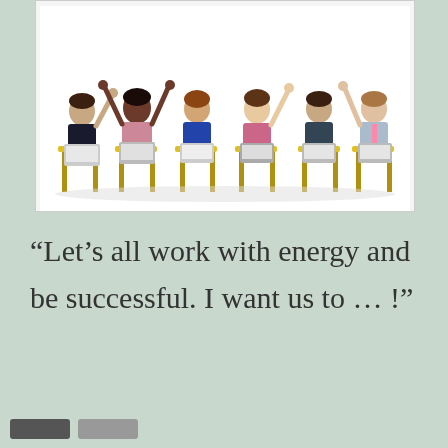[Figure (photo): Group of cheerful business people sitting on yellow chairs with laptops, raising hands in celebration, on a white background]
“Let’s all work with energy and be successful. I want us to … !”